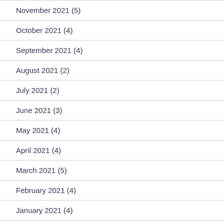November 2021 (5)
October 2021 (4)
September 2021 (4)
August 2021 (2)
July 2021 (2)
June 2021 (3)
May 2021 (4)
April 2021 (4)
March 2021 (5)
February 2021 (4)
January 2021 (4)